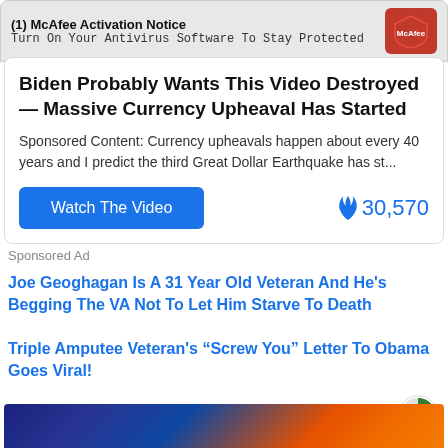[Figure (screenshot): McAfee Activation Notice banner with red McAfee shield logo. Text: '(1) McAfee Activation Notice' and 'Turn On Your Antivirus Software To Stay Protected']
Biden Probably Wants This Video Destroyed — Massive Currency Upheaval Has Started
Sponsored Content: Currency upheavals happen about every 40 years and I predict the third Great Dollar Earthquake has st...
Watch The Video   🔥 30,570
Sponsored Ad
Joe Geoghagan Is A 31 Year Old Veteran And He's Begging The VA Not To Let Him Starve To Death
Triple Amputee Veteran's “Screw You” Letter To Obama Goes Viral!
Around The Web
[Figure (screenshot): Bottom strip showing a colorful slot machine / gaming screen image]